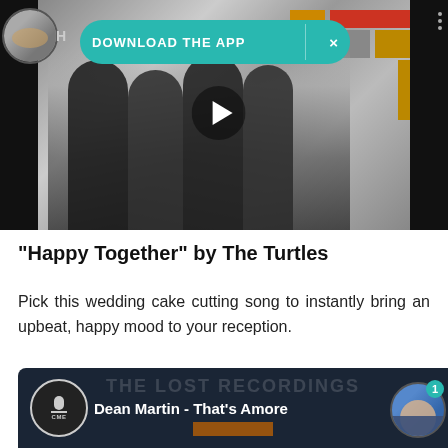[Figure (screenshot): YouTube-style video player showing black and white photo of The Turtles band with a 'DOWNLOAD THE APP' teal banner overlay and a play button in the center. Top-left shows a circular avatar of a cat/dog. Three-dot menu icon at top right.]
"Happy Together" by The Turtles
Pick this wedding cake cutting song to instantly bring an upbeat, happy mood to your reception.
[Figure (screenshot): YouTube-style video thumbnail for 'Dean Martin - That's Amore' showing CME Classic Rock Recordings logo on left and a cartoon female avatar with notification badge '1' on right. Background shows 'The Lost Recordings' text.]